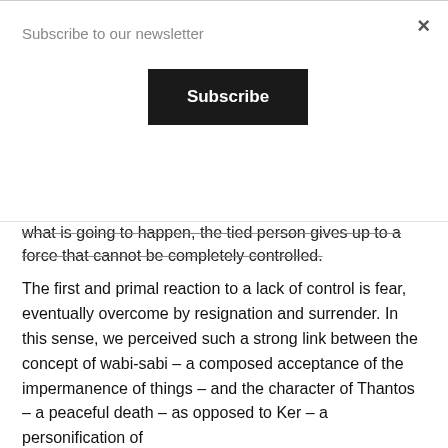× Subscribe to our newsletter
Subscribe
what is going to happen, the tied person gives up to a force that cannot be completely controlled.
The first and primal reaction to a lack of control is fear, eventually overcome by resignation and surrender. In this sense, we perceived such a strong link between the concept of wabi-sabi – a composed acceptance of the impermanence of things – and the character of Thantos – a peaceful death – as opposed to Ker – a personification of the violent death -.
The deep empathy from the tying person for the condition of the tied one shall not prevent the impassive contemplation of suffering. The tied person is led by the compassionate inflexibility of the partner in